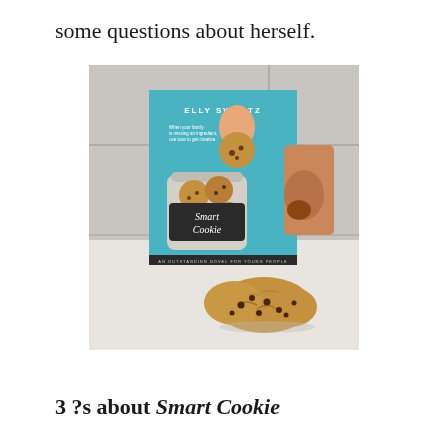some questions about herself.
[Figure (photo): Photo of the book 'Smart Cookie' by Elly Swartz standing upright on a white counter, with a brain-shaped chocolate chip cookie in front of it. The book cover shows a teal background with a jar of cookies, a hand holding a cookie, and a dog looking up.]
3 ?s about Smart Cookie